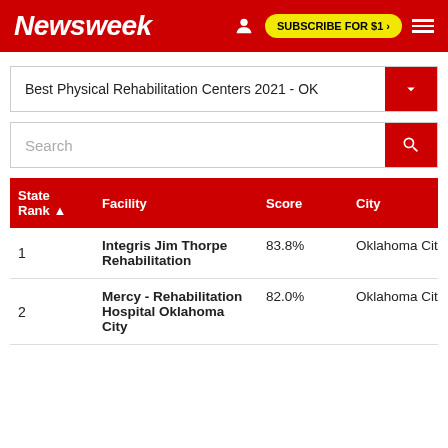Newsweek
Best Physical Rehabilitation Centers 2021 - OK
Search
| State Rank | Facility | Score | City | Sta |
| --- | --- | --- | --- | --- |
| 1 | Integris Jim Thorpe Rehabilitation | 83.8% | Oklahoma City | OK |
| 2 | Mercy - Rehabilitation Hospital Oklahoma City | 82.0% | Oklahoma City | OK |